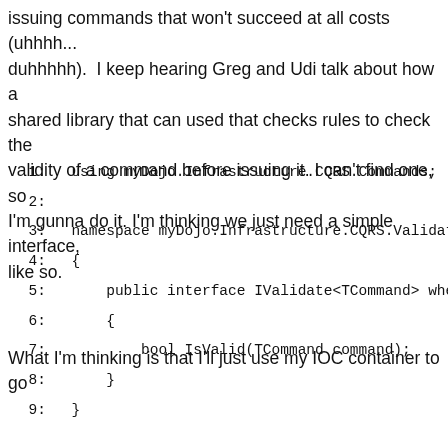issuing commands that won't succeed at all costs (uhhhh... duhhhhh).  I keep hearing Greg and Udi talk about how a shared library that can used that checks rules to check the validity of a command before issuing it. I can't find one, so I'm gunna do it. I'm thinking we just need a simple interface, like so.
What I'm thinking is that I'll just use my IOC container to go